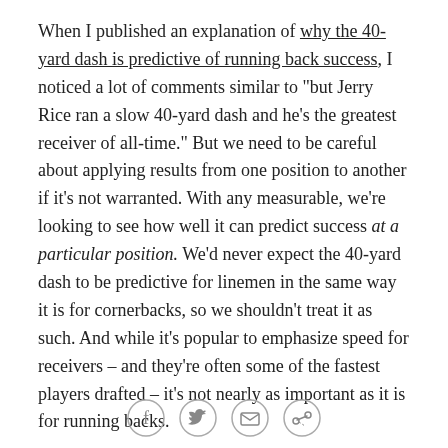When I published an explanation of why the 40-yard dash is predictive of running back success, I noticed a lot of comments similar to "but Jerry Rice ran a slow 40-yard dash and he's the greatest receiver of all-time." But we need to be careful about applying results from one position to another if it's not warranted. With any measurable, we're looking to see how well it can predict success at a particular position. We'd never expect the 40-yard dash to be predictive for linemen in the same way it is for cornerbacks, so we shouldn't treat it as such. And while it's popular to emphasize speed for receivers – and they're often some of the fastest players drafted – it's not nearly as important as it is for running backs.
What Matters Most for Wide Receivers
[Figure (other): Social sharing icons: Facebook, Twitter, Email, Link/copy]